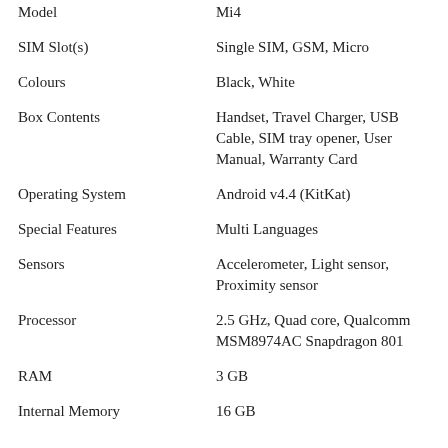| Attribute | Value |
| --- | --- |
| Model | Mi4 |
| SIM Slot(s) | Single SIM, GSM, Micro |
| Colours | Black, White |
| Box Contents | Handset, Travel Charger, USB Cable, SIM tray opener, User Manual, Warranty Card |
| Operating System | Android v4.4 (KitKat) |
| Special Features | Multi Languages |
| Sensors | Accelerometer, Light sensor, Proximity sensor |
| Processor | 2.5 GHz, Quad core, Qualcomm MSM8974AC Snapdragon 801 |
| RAM | 3 GB |
| Internal Memory | 16 GB |